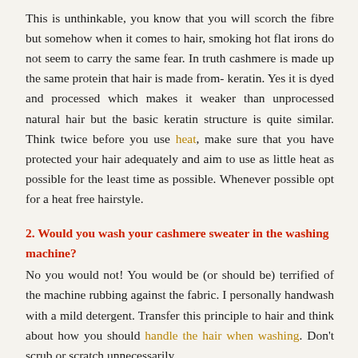This is unthinkable, you know that you will scorch the fibre but somehow when it comes to hair, smoking hot flat irons do not seem to carry the same fear. In truth cashmere is made up the same protein that hair is made from- keratin. Yes it is dyed and processed which makes it weaker than unprocessed natural hair but the basic keratin structure is quite similar. Think twice before you use heat, make sure that you have protected your hair adequately and aim to use as little heat as possible for the least time as possible. Whenever possible opt for a heat free hairstyle.
2. Would you wash your cashmere sweater in the washing machine?
No you would not! You would be (or should be) terrified of the machine rubbing against the fabric. I personally handwash with a mild detergent. Transfer this principle to hair and think about how you should handle the hair when washing. Don't scrub or scratch unnecessarily,